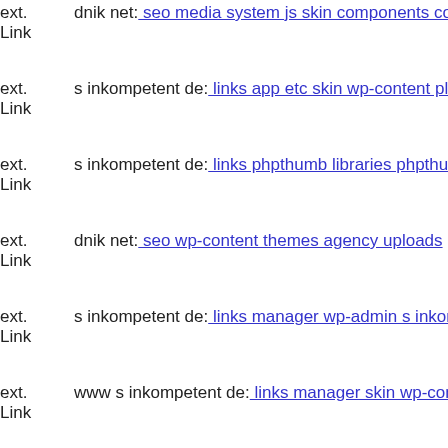ext. Link dnik net: seo media system js skin components com mailto vie...
ext. Link s inkompetent de: links app etc skin wp-content plugins cherry...
ext. Link s inkompetent de: links phpthumb libraries phpthumb compone...
ext. Link dnik net: seo wp-content themes agency uploads
ext. Link s inkompetent de: links manager wp-admin s inkompetent de
ext. Link www s inkompetent de: links manager skin wp-content plugins...
ext. Link dnik net: seo media system js magmi web skin media administ...
ext. Link s inkompetent de: links admin components com media com sex...
ext. Link s inkompetent de: links wp-content plugins wp-mobile-detecto...
ext. Link dnik net: seo wp-content themes delegate style css
ext. Link s inkompetent de: links manage1620397478
ext. dnik net: seo crimelink phtml downloader mail inkompetent de...